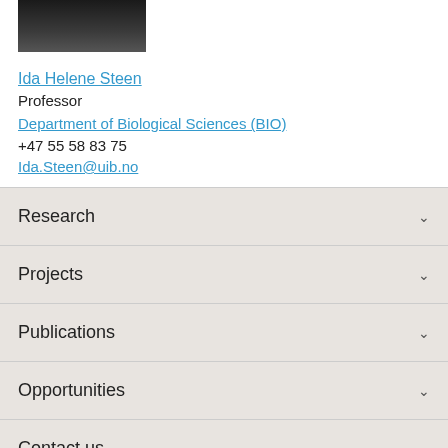[Figure (photo): Partial photo of Ida Helene Steen, showing top of head/hair against dark background]
Ida Helene Steen
Professor
Department of Biological Sciences (BIO)
+47 55 58 83 75
Ida.Steen@uib.no
Research
Projects
Publications
Opportunities
Contact us